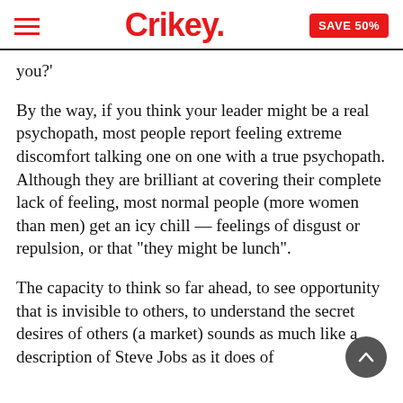Crikey. | SAVE 50%
you?'
By the way, if you think your leader might be a real psychopath, most people report feeling extreme discomfort talking one on one with a true psychopath. Although they are brilliant at covering their complete lack of feeling, most normal people (more women than men) get an icy chill — feelings of disgust or repulsion, or that "they might be lunch".
The capacity to think so far ahead, to see opportunity that is invisible to others, to understand the secret desires of others (a market) sounds as much like a description of Steve Jobs as it does of